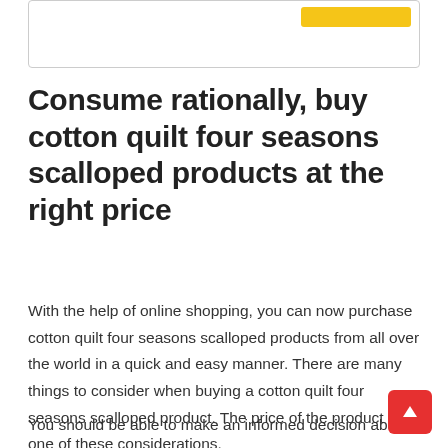[Figure (other): Top bordered box with a small gold/yellow button in the upper right corner]
Consume rationally, buy cotton quilt four seasons scalloped products at the right price
With the help of online shopping, you can now purchase cotton quilt four seasons scalloped products from all over the world in a quick and easy manner. There are many things to consider when buying a cotton quilt four seasons scalloped product. The price of the product is one of these considerations.
You should be able to make an informed decision about